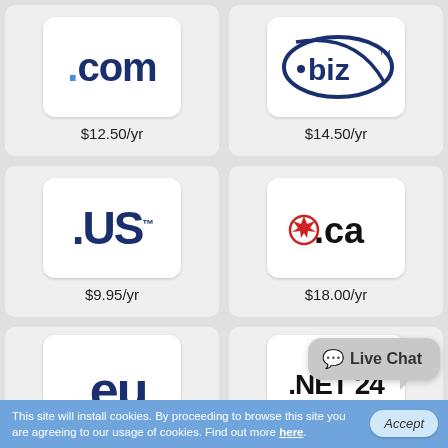[Figure (logo): .com domain logo with price $12.50/yr]
[Figure (logo): .biz domain logo with price $14.50/yr]
[Figure (logo): .US domain logo with price $9.95/yr]
[Figure (logo): .ca domain logo with price $18.00/yr]
[Figure (logo): .eu domain logo (partially visible)]
[Figure (logo): .net domain logo (partially visible, partially obscured by Live Chat bubble)]
Live Chat
This site will install cookies. By proceeding to browse this site you are agreeing to our usage of cookies. Find out more here.